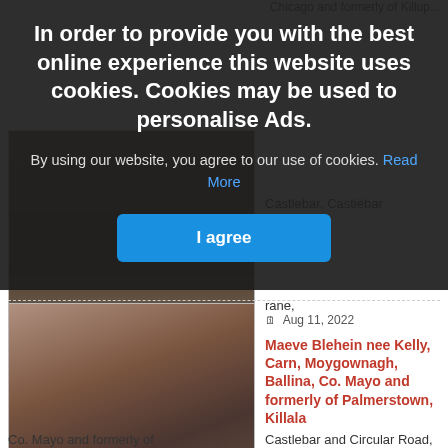Chicago and formerly of Killup...
Castlebar, Castlebar and Circular Road, Swinford.
rane, Castlebar and Circular Road, Swinford.
Predeceased by his sister…
Aug 11, 2022
Maeve Blehein nee Kelly, Carn, Moygownagh, Ballina, Co. Mayo and formerly of Palmerstown, Killala
Maeve Blehein nee Kelly,
Carn, Moygownagh, Ballina,
Co. Mayo and formerly of
In order to provide you with the best online experience this website uses cookies. Cookies may be used to personalise Ads.
By using our website, you agree to our use of cookies. Read More
I agree